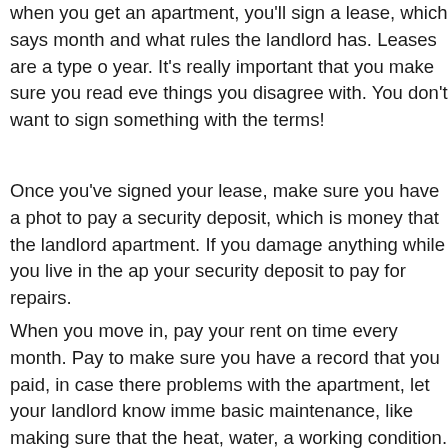when you get an apartment, you'll sign a lease, which says month and what rules the landlord has. Leases are a type of year. It's really important that you make sure you read eve things you disagree with. You don't want to sign something with the terms!
Once you've signed your lease, make sure you have a phot to pay a security deposit, which is money that the landlord apartment. If you damage anything while you live in the ap your security deposit to pay for repairs.
When you move in, pay your rent on time every month. Pay to make sure you have a record that you paid, in case there problems with the apartment, let your landlord know imme basic maintenance, like making sure that the heat, water, a working condition.